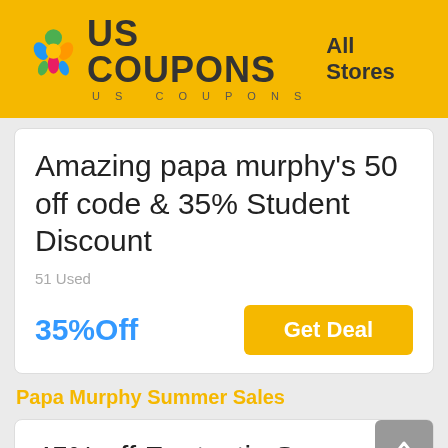US COUPONS — All Stores
Amazing papa murphy's 50 off code & 35% Student Discount
51 Used
35%Off
Get Deal
Papa Murphy Summer Sales
45% off Fantastic Summer Sales online